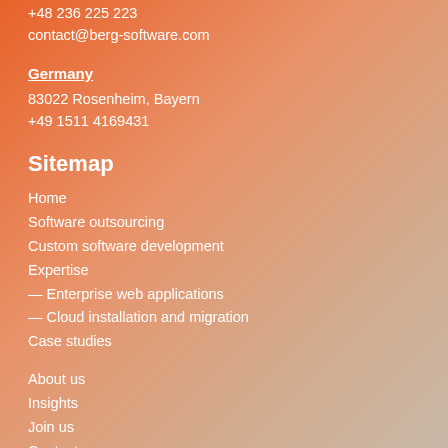+48 236 225 223
contact@berg-software.com
Germany
83022 Rosenheim, Bayern
+49 1511 4169431
Sitemap
Home
Software outsourcing
Custom software development
Expertise
— Enterprise web applications
— Cloud installation and migration
Case studies
About us
Insights
Join us
Contact
Terms & Conditions
Data Protection Policy